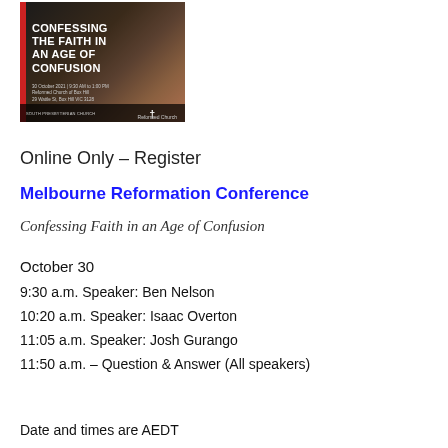[Figure (illustration): Conference poster for Melbourne Reformation Conference - Confessing the Faith in an Age of Confusion, showing city skyline at dusk with dark overlay, bold white title text, date and venue details, and church logos at the bottom]
Online Only - Register
Melbourne Reformation Conference
Confessing Faith in an Age of Confusion
October 30
9:30 a.m. Speaker: Ben Nelson
10:20 a.m. Speaker: Isaac Overton
11:05 a.m. Speaker: Josh Gurango
11:50 a.m. – Question & Answer (All speakers)
Date and times are AEDT